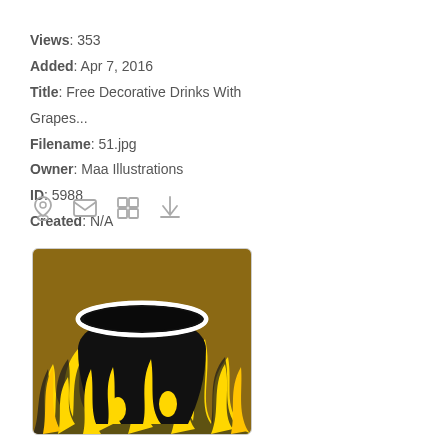Views: 353
Added: Apr 7, 2016
Title: Free Decorative Drinks With Grapes...
Filename: 51.jpg
Owner: Maa Illustrations
ID: 5988
Created: N/A
[Figure (illustration): A black cauldron/pot with a white oval rim, set on a brown background, surrounded by stylized yellow and black flames rising from below.]